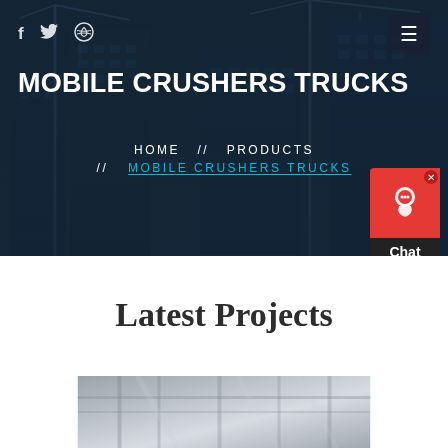[Figure (photo): Hero banner with construction site background showing cranes and city buildings with dark blue overlay]
MOBILE CRUSHERS TRUCKS
HOME // PRODUCTS // MOBILE CRUSHERS TRUCKS
Latest Projects
[Figure (photo): Partial view of industrial/construction interior with scaffolding and industrial equipment]